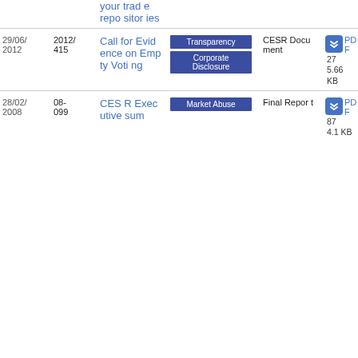| Date | Ref | Title | Tags | Type | File |
| --- | --- | --- | --- | --- | --- |
|  |  | your trade repositories |  |  |  |
| 29/06/2012 | 2012/415 | Call for Evidence on Empty Voting | Transparency
Corporate Disclosure | CESR Document | PDF
27
5.66 KB |
| 28/02/2008 | 08-099 | CESR Executive sum | Market Abuse | Final Report | PDF
87
4.1 KB |